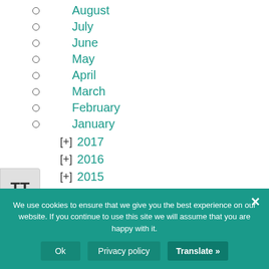August
July
June
May
April
March
February
January
[+] 2017
[+] 2016
[+] 2015
[+] 2014
We use cookies to ensure that we give you the best experience on our website. If you continue to use this site we will assume that you are happy with it.
Ok
Privacy policy
Translate »